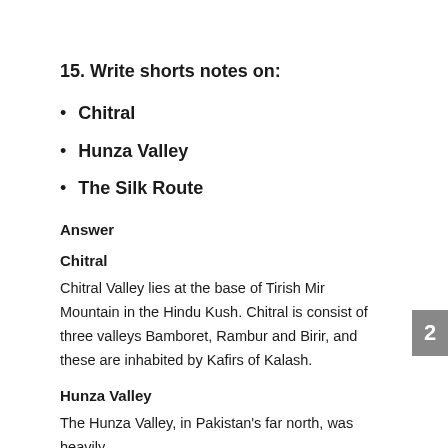15. Write shorts notes on:
Chitral
Hunza Valley
The Silk Route
Answer
Chitral
Chitral Valley lies at the base of Tirish Mir Mountain in the Hindu Kush. Chitral is consist of three valleys Bamboret, Rambur and Birir, and these are inhabited by Kafirs of Kalash.
Hunza Valley
The Hunza Valley, in Pakistan's far north, was heavily